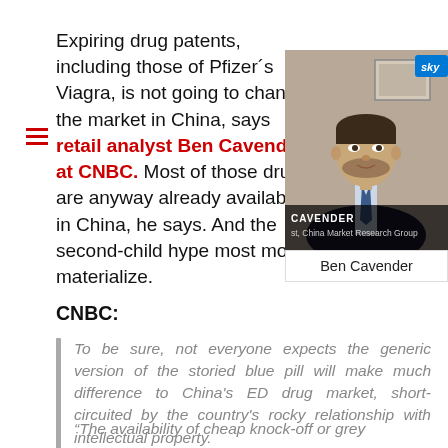Expiring drug patents, including those of Pfizer's Viagra, is not going to change the market in China, says retail analyst Ben Cavender at CNBC. Most of those drugs are anyway already available in China, he says. And the second-child hype most more materialize.
[Figure (screenshot): CNBC video screenshot of Ben Cavender, labeled as analyst at China Market Research Group, with a lower-third banner reading 'CAVENDER' and 'st, China Market Research Group'. Below the video is a caption box reading 'Ben Cavender'.]
CNBC:
To be sure, not everyone expects the generic version of the storied blue pill will make much difference to China's ED drug market, short-circuited by the country's rocky relationship with intellectual property.
“The availability of cheap knock-off or grey